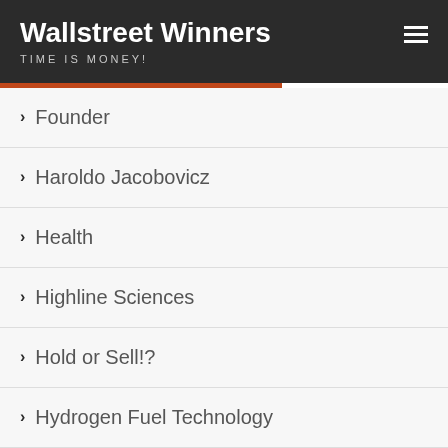Wallstreet Winners
TIME IS MONEY!
Founder
Haroldo Jacobovicz
Health
Highline Sciences
Hold or Sell!?
Hydrogen Fuel Technology
Insurance product
Interactive Online Education